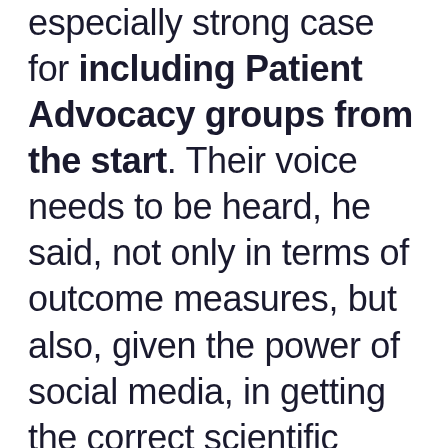especially strong case for including Patient Advocacy groups from the start. Their voice needs to be heard, he said, not only in terms of outcome measures, but also, given the power of social media, in getting the correct scientific messages out to the public. “And so patient-related communication is something I would strongly